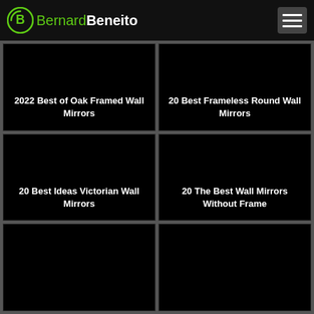BernardBeneito
[Figure (screenshot): Dark card with title: 2022 Best of Oak Framed Wall Mirrors]
[Figure (screenshot): Dark card with title: 20 Best Frameless Round Wall Mirrors]
[Figure (screenshot): Dark card with title: 20 Best Ideas Victorian Wall Mirrors]
[Figure (screenshot): Dark card with title: 20 The Best Wall Mirrors Without Frame]
[Figure (screenshot): Dark card (bottom-left, partially visible)]
[Figure (screenshot): Dark card (bottom-right, partially visible)]